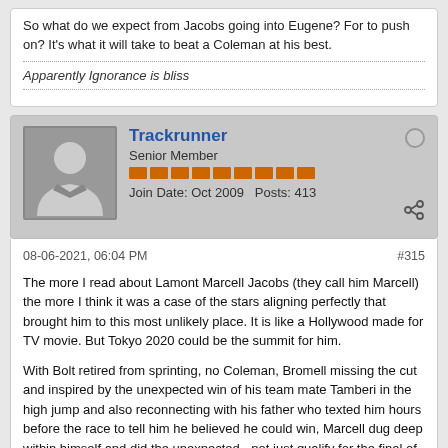So what do we expect from Jacobs going into Eugene? For to push on? It's what it will take to beat a Coleman at his best.
Apparently Ignorance is bliss
Trackrunner
Senior Member
Join Date: Oct 2009   Posts: 413
08-06-2021, 06:04 PM
#315
The more I read about Lamont Marcell Jacobs (they call him Marcell) the more I think it was a case of the stars aligning perfectly that brought him to this most unlikely place. It is like a Hollywood made for TV movie. But Tokyo 2020 could be the summit for him.

With Bolt retired from sprinting, no Coleman, Bromell missing the cut and inspired by the unexpected win of his team mate Tamberi in the high jump and also reconnecting with his father who texted him hours before the race to tell him he believed he could win, Marcell dug deep within himself and did the unexpected - not just qualify for the final of an Olympic 100M final (the first Italian to do so!) but also win.

This is like Bingtian Su producing that 9.83 PB in the semi-final to